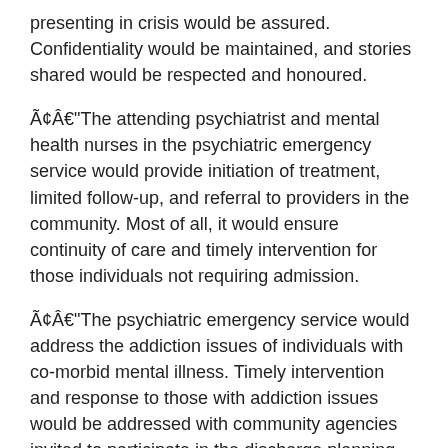presenting in crisis would be assured. Confidentiality would be maintained, and stories shared would be respected and honoured.
Ã¢Â€"The attending psychiatrist and mental health nurses in the psychiatric emergency service would provide initiation of treatment, limited follow-up, and referral to providers in the community. Most of all, it would ensure continuity of care and timely intervention for those individuals not requiring admission.
Ã¢Â€"The psychiatric emergency service would address the addiction issues of individuals with co-morbid mental illness. Timely intervention and response to those with addiction issues would be addressed with community agencies invited to participate in the discharge planning process from ER.
This is just a start, ladies and gentlemen, but if we don't begin, we will never get finished. The right care for the right